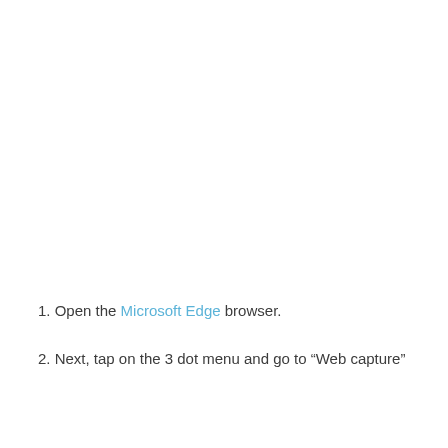1. Open the Microsoft Edge browser.
2. Next, tap on the 3 dot menu and go to “Web capture”